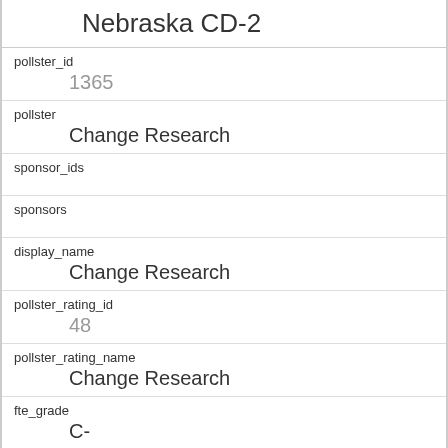Nebraska CD-2
| pollster_id | 1365 |
| pollster | Change Research |
| sponsor_ids |  |
| sponsors |  |
| display_name | Change Research |
| pollster_rating_id | 48 |
| pollster_rating_name | Change Research |
| fte_grade | C- |
| sample_size | 547 |
| population |  |